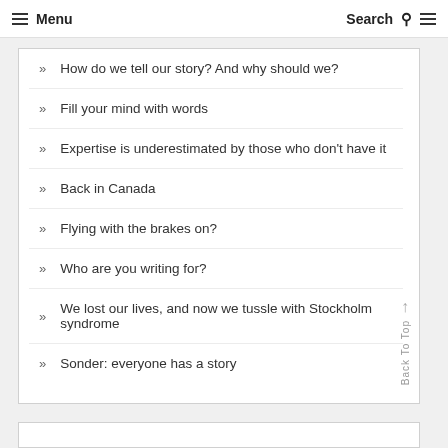≡ Menu   Search Q ≡
How do we tell our story? And why should we?
Fill your mind with words
Expertise is underestimated by those who don't have it
Back in Canada
Flying with the brakes on?
Who are you writing for?
We lost our lives, and now we tussle with Stockholm syndrome
Sonder: everyone has a story